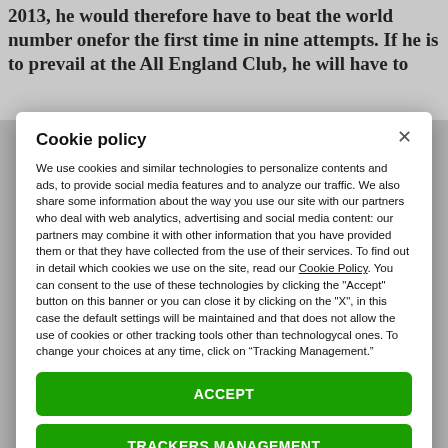2013, he would therefore have to beat the world number onefor the first time in nine attempts. If he is to prevail at the All England Club, he will have to
Cookie policy
We use cookies and similar technologies to personalize contents and ads, to provide social media features and to analyze our traffic. We also share some information about the way you use our site with our partners who deal with web analytics, advertising and social media content: our partners may combine it with other information that you have provided them or that they have collected from the use of their services. To find out in detail which cookies we use on the site, read our Cookie Policy. You can consent to the use of these technologies by clicking the "Accept" button on this banner or you can close it by clicking on the "X", in this case the default settings will be maintained and that does not allow the use of cookies or other tracking tools other than technologycal ones. To change your choices at any time, click on “Tracking Management.”
ACCEPT
TRACKERS MANAGEMENT
Show vendors | Show purposes